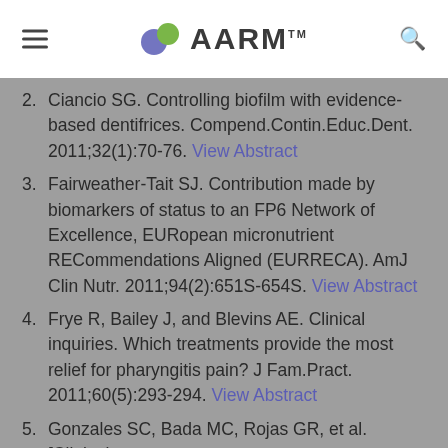AARM
2. Ciancio SG. Controlling biofilm with evidence-based dentifrices. Compend.Contin.Educ.Dent. 2011;32(1):70-76. View Abstract
3. Fairweather-Tait SJ. Contribution made by biomarkers of status to an FP6 Network of Excellence, EURopean micronutrient RECommendations Aligned (EURRECA). AmJ Clin Nutr. 2011;94(2):651S-654S. View Abstract
4. Frye R, Bailey J, and Blevins AE. Clinical inquiries. Which treatments provide the most relief for pharyngitis pain? J Fam.Pract. 2011;60(5):293-294. View Abstract
5. Gonzales SC, Bada MC, Rojas GR, et al. [Clinical